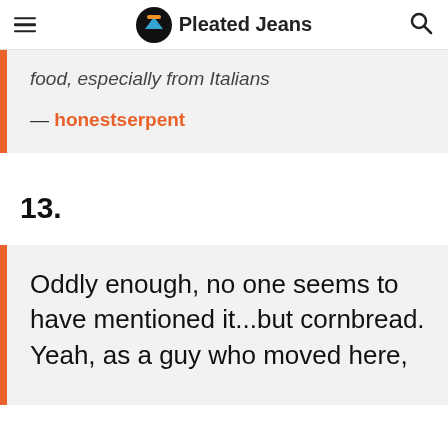Pleated Jeans
food, especially from Italians
— honestserpent
13.
Oddly enough, no one seems to have mentioned it...but cornbread. Yeah, as a guy who moved here,